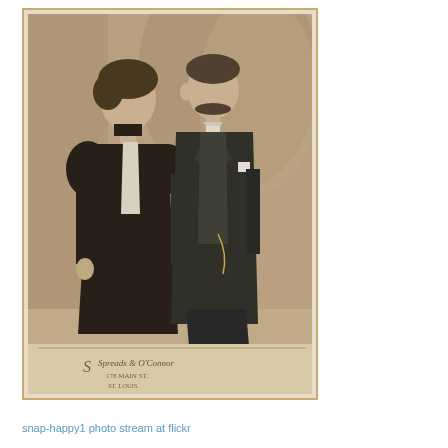[Figure (photo): A sepia-toned antique cabinet card photograph showing a Victorian-era couple standing together. The woman on the left wears a dark dress with puffed sleeves and high neck. The man on the right wears a dark suit with a mustache. There is a decorative backdrop behind them. At the bottom of the cabinet card is a photographer's imprint reading 'Spreads & O'Conner' with an address on Main St.]
snap-happy1 photo stream at flickr